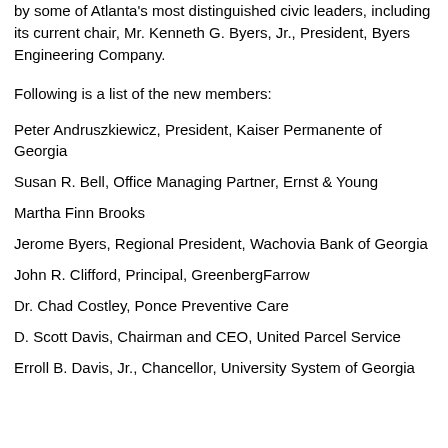by some of Atlanta's most distinguished civic leaders, including its current chair, Mr. Kenneth G. Byers, Jr., President, Byers Engineering Company.
Following is a list of the new members:
Peter Andruszkiewicz, President, Kaiser Permanente of Georgia
Susan R. Bell, Office Managing Partner, Ernst & Young
Martha Finn Brooks
Jerome Byers, Regional President, Wachovia Bank of Georgia
John R. Clifford, Principal, GreenbergFarrow
Dr. Chad Costley, Ponce Preventive Care
D. Scott Davis, Chairman and CEO, United Parcel Service
Erroll B. Davis, Jr., Chancellor, University System of Georgia